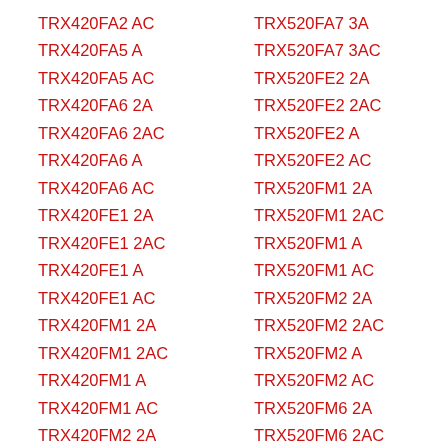TRX420FA2 AC
TRX420FA5 A
TRX420FA5 AC
TRX420FA6 2A
TRX420FA6 2AC
TRX420FA6 A
TRX420FA6 AC
TRX420FE1 2A
TRX420FE1 2AC
TRX420FE1 A
TRX420FE1 AC
TRX420FM1 2A
TRX420FM1 2AC
TRX420FM1 A
TRX420FM1 AC
TRX420FM2 2A
TRX520FA7 3A
TRX520FA7 3AC
TRX520FE2 2A
TRX520FE2 2AC
TRX520FE2 A
TRX520FE2 AC
TRX520FM1 2A
TRX520FM1 2AC
TRX520FM1 A
TRX520FM1 AC
TRX520FM2 2A
TRX520FM2 2AC
TRX520FM2 A
TRX520FM2 AC
TRX520FM6 2A
TRX520FM6 2AC